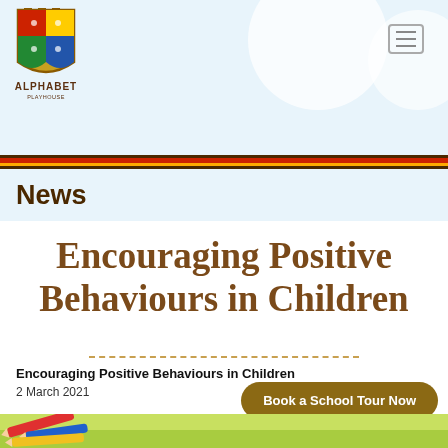[Figure (logo): Alphabet Playhouse castle shield logo with text ALPHABET PLAYHOUSE]
Alphabet Playhouse website header with navigation hamburger icon and decorative circles
News
Encouraging Positive Behaviours in Children
Encouraging Positive Behaviours in Children
2 March 2021
Book a School Tour Now
[Figure (photo): Coloured pencils and ruler at bottom of page]